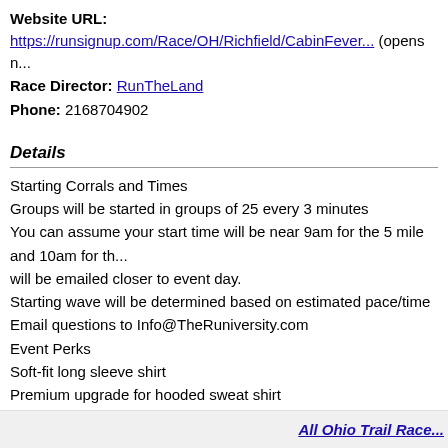Website URL: https://runsignup.com/Race/OH/Richfield/CabinFever... (opens n...
Race Director: RunTheLand
Phone: 2168704902
Details
Starting Corrals and Times
Groups will be started in groups of 25 every 3 minutes
You can assume your start time will be near 9am for the 5 mile and 10am for th...
will be emailed closer to event day.
Starting wave will be determined based on estimated pace/time
Email questions to Info@TheRuniversity.com
Event Perks
Soft-fit long sleeve shirt
Premium upgrade for hooded sweat shirt
Earn you upgrade for free when you bring 3 friends!
Or add on at registration
Race bib and timing chip
Post race snacks
Race Reports For Cabin Fever Trail Race
Add My Race Report
All Ohio Trail Race...